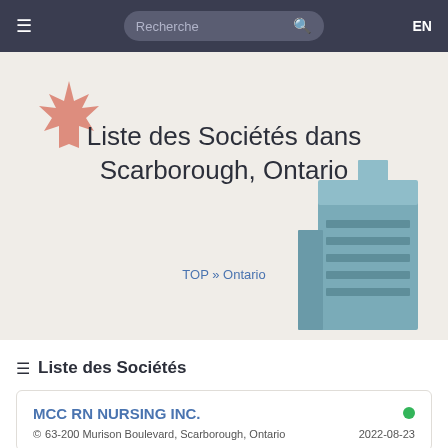≡  Recherche 🔍  EN
Liste des Sociétés dans Scarborough, Ontario
TOP » Ontario
[Figure (illustration): Red maple leaf icon in top-left of hero section]
[Figure (illustration): Grey-blue building/office tower icon in bottom-right of hero section]
☰ Liste des Sociétés
MCC RN NURSING INC.
📍 63-200 Murison Boulevard, Scarborough, Ontario  2022-08-23